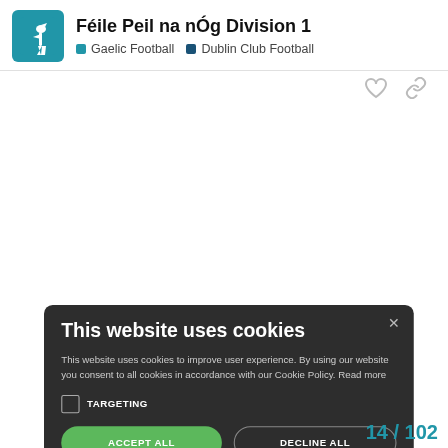Féile Peil na nÓg Division 1 | Gaelic Football | Dublin Club Football
[Figure (screenshot): Cookie consent modal dialog on dark background with title 'This website uses cookies', body text, TARGETING checkbox, ACCEPT ALL (green) and DECLINE ALL buttons, and SHOW DETAILS option.]
14 / 102